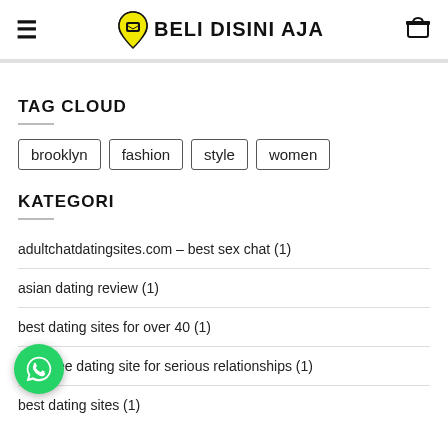Beli Disini Aja
TAG CLOUD
brooklyn
fashion
style
women
KATEGORI
adultchatdatingsites.com – best sex chat (1)
asian dating review (1)
best dating sites for over 40 (1)
best free dating site for serious relationships (1)
best dating sites (1)